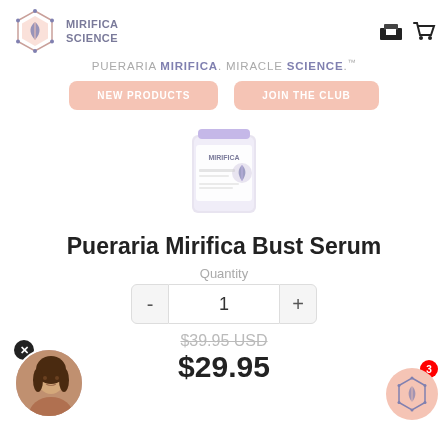[Figure (logo): Mirifica Science hexagonal logo with leaf/plant icon in peach/pink tones, with text MIRIFICA SCIENCE]
PUERARIA MIRIFICA. MIRACLE SCIENCE.™
NEW PRODUCTS
JOIN THE CLUB
[Figure (photo): Mirifica Science Pueraria Mirifica Bust Serum product bottle/jar with white and purple label]
Pueraria Mirifica Bust Serum
Quantity
1
$39.95 USD
$29.95